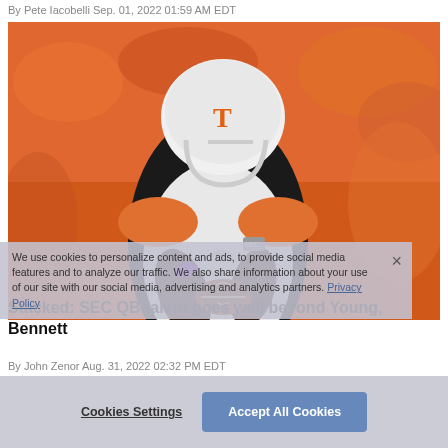By Pete Iacobelli Sep. 01, 2022 01:59 AM EDT
[Figure (photo): Tennessee Volunteers quarterback in white uniform with orange T helmet, holding football, with orange-clad crowd in background]
We use cookies to personalize content and ads, to provide social media features and to analyze our traffic. We also share information about your use of our site with our social media, advertising and analytics partners. Privacy Policy
Stacked: SEC QB talent goes well beyond Young, Bennett
By John Zenor Aug. 31, 2022 02:32 PM EDT
Cookies Settings
Accept All Cookies